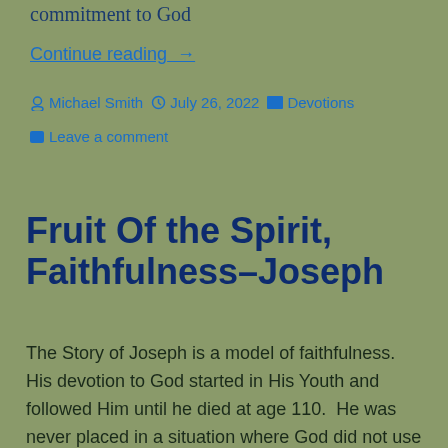commitment to God
Continue reading  →
Michael Smith   July 26, 2022   Devotions   Leave a comment
Fruit Of the Spirit, Faithfulness–Joseph
The Story of Joseph is a model of faithfulness.  His devotion to God started in His Youth and followed Him until he died at age 110.  He was never placed in a situation where God did not use him to change lives. He was a slave, a prisoner and 2d only to Pharaoh.  In all